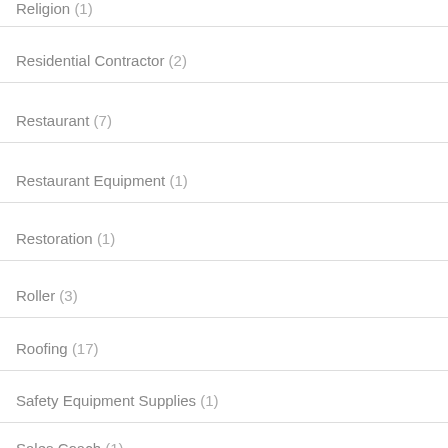Religion (1)
Residential Contractor (2)
Restaurant (7)
Restaurant Equipment (1)
Restoration (1)
Roller (3)
Roofing (17)
Safety Equipment Supplies (1)
Sales Coach (1)
Salon & Spa (4)
Search Engine Optimization Firms (1)